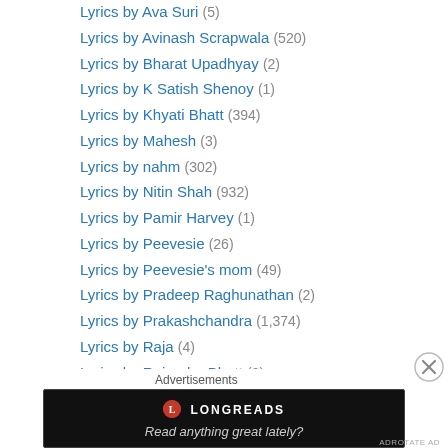Lyrics by Ava Suri (5)
Lyrics by Avinash Scrapwala (520)
Lyrics by Bharat Upadhyay (2)
Lyrics by K Satish Shenoy (1)
Lyrics by Khyati Bhatt (394)
Lyrics by Mahesh (3)
Lyrics by nahm (302)
Lyrics by Nitin Shah (932)
Lyrics by Pamir Harvey (1)
Lyrics by Peevesie (26)
Lyrics by Peevesie's mom (49)
Lyrics by Pradeep Raghunathan (2)
Lyrics by Prakashchandra (1,374)
Lyrics by Raja (4)
Lyrics by Rajendra Bhatt (2)
Lyrics by Sadanand Kamath (123)
Lyrics by Sheetal (1)
Advertisements
[Figure (other): Longreads advertisement banner with text 'Read anything great lately?']